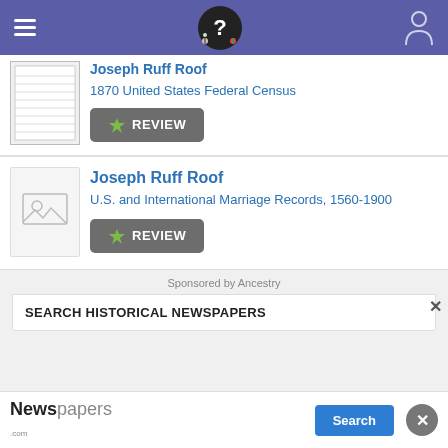Navigation header with hamburger menu, logo, and user icon
Joseph Ruff Roof
1870 United States Federal Census
REVIEW
Joseph Ruff Roof
U.S. and International Marriage Records, 1560-1900
REVIEW
Sponsored by Ancestry
SEARCH HISTORICAL NEWSPAPERS
Newspapers.com Search